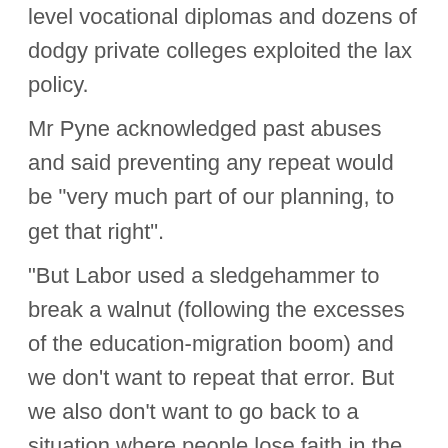level vocational diplomas and dozens of dodgy private colleges exploited the lax policy. Mr Pyne acknowledged past abuses and said preventing any repeat would be “very much part of our planning, to get that right”. “But Labor used a sledgehammer to break a walnut (following the excesses of the education-migration boom) and we don’t want to repeat that error. But we also don’t want to go back to a situation where people lose faith in the quality of education in Australia.”